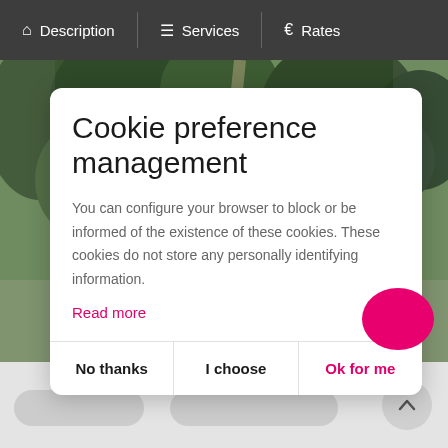Description | Services | Rates
[Figure (photo): Aerial view of forested landscape with a road/path visible through trees]
Cookie preference management
You can configure your browser to block or be informed of the existence of these cookies. These cookies do not store any personally identifying information.
Read more
No thanks
I choose
Ok for me